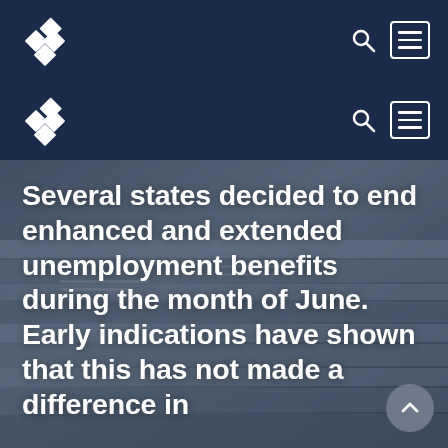[Navigation bar with diamond logo, search icon, and menu icon — repeated twice]
[Figure (photo): Background photo of stacked newspapers/financial publications shown in dark blue-grey tones with overlay]
Several states decided to end enhanced and extended unemployment benefits during the month of June. Early indications have shown that this has not made a difference in